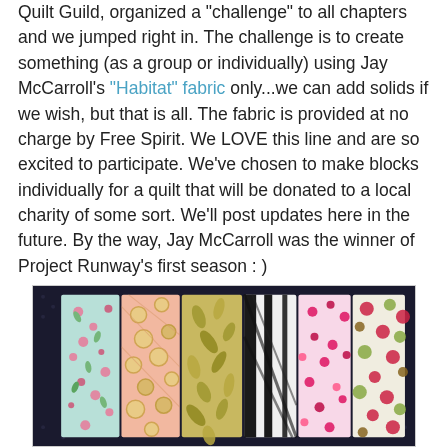Quilt Guild, organized a "challenge" to all chapters and we jumped right in. The challenge is to create something (as a group or individually) using Jay McCarroll's "Habitat" fabric only...we can add solids if we wish, but that is all. The fabric is provided at no charge by Free Spirit. We LOVE this line and are so excited to participate. We've chosen to make blocks individually for a quilt that will be donated to a local charity of some sort. We'll post updates here in the future. By the way, Jay McCarroll was the winner of Project Runway's first season : )
[Figure (photo): Photograph of fabric swatches from the Habitat fabric line by Jay McCarroll, displayed on a dark dotted background. The swatches include floral, geometric, polka dot, and leaf patterns in pink, gold, black, white, and green.]